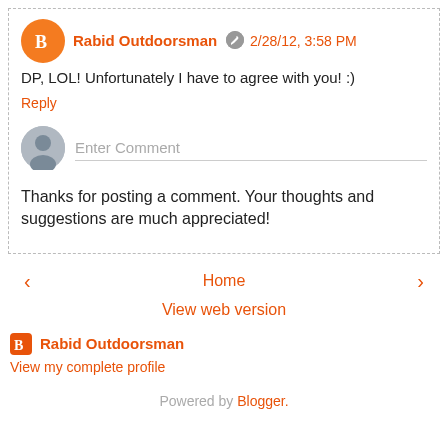Rabid Outdoorsman  2/28/12, 3:58 PM
DP, LOL! Unfortunately I have to agree with you! :)
Reply
Enter Comment
Thanks for posting a comment. Your thoughts and suggestions are much appreciated!
‹  Home  ›
View web version
Rabid Outdoorsman
View my complete profile
Powered by Blogger.